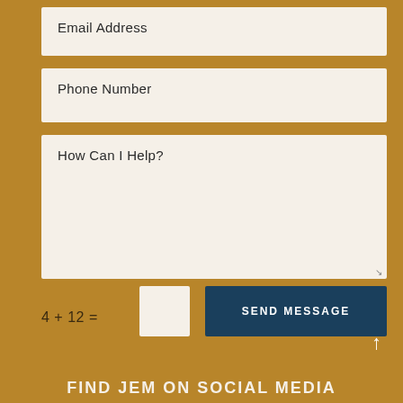Email Address
Phone Number
How Can I Help?
4 + 12 =
SEND MESSAGE
↑
FIND JEM ON SOCIAL MEDIA